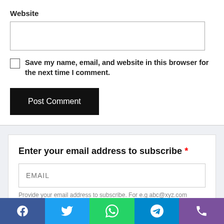Website
Save my name, email, and website in this browser for the next time I comment.
Post Comment
Enter your email address to subscribe *
EMAIL
Provide your email address to subscribe. For e.g abc@xyz.com
[Figure (infographic): Social share bar with Facebook, Twitter, WhatsApp, Telegram, and Viber buttons]